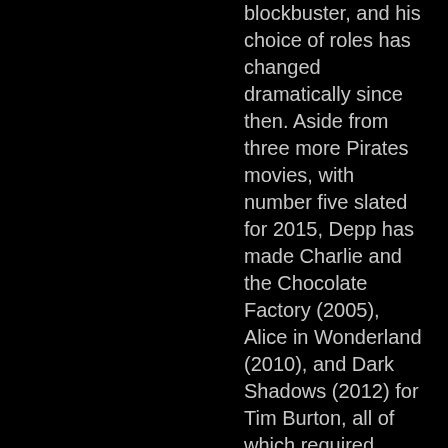blockbuster, and his choice of roles has changed dramatically since then. Aside from three more Pirates movies, with number five slated for 2015, Depp has made Charlie and the Chocolate Factory (2005), Alice in Wonderland (2010), and Dark Shadows (2012) for Tim Burton, all of which required enough make-up to fill a tanker truck. Playing Tonto in The Lone Ranger is nothing more than a logical progression